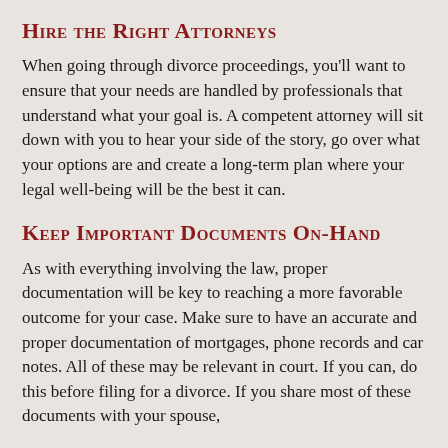Hire the Right Attorneys
When going through divorce proceedings, you'll want to ensure that your needs are handled by professionals that understand what your goal is. A competent attorney will sit down with you to hear your side of the story, go over what your options are and create a long-term plan where your legal well-being will be the best it can.
Keep Important Documents On-Hand
As with everything involving the law, proper documentation will be key to reaching a more favorable outcome for your case. Make sure to have an accurate and proper documentation of mortgages, phone records and car notes. All of these may be relevant in court. If you can, do this before filing for a divorce. If you share most of these documents with your spouse,